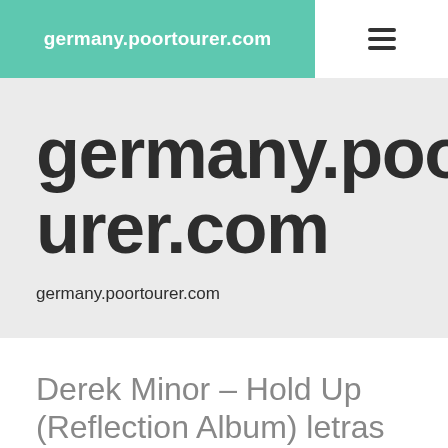germany.poortourer.com
germany.poortourer.com
germany.poortourer.com
Derek Minor – Hold Up (Reflection Album) letras